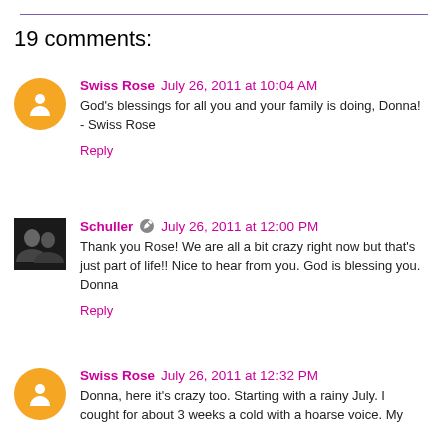19 comments:
Swiss Rose July 26, 2011 at 10:04 AM
God's blessings for all you and your family is doing, Donna! - Swiss Rose
Reply
Schuller July 26, 2011 at 12:00 PM
Thank you Rose! We are all a bit crazy right now but that's just part of life!! Nice to hear from you. God is blessing you. Donna
Reply
Swiss Rose July 26, 2011 at 12:32 PM
Donna, here it's crazy too. Starting with a rainy July. I cought for about 3 weeks a cold with a hoarse voice. My